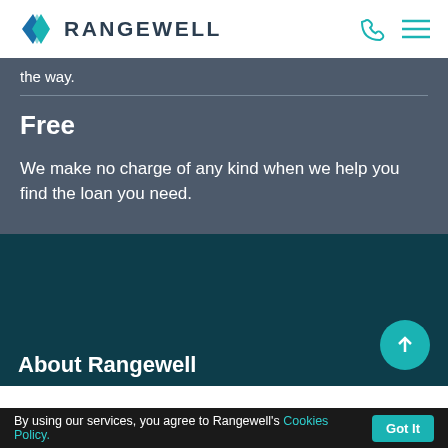RANGEWELL
the way.
Free
We make no charge of any kind when we help you find the loan you need.
About Rangewell
By using our services, you agree to Rangewell's Cookies Policy.